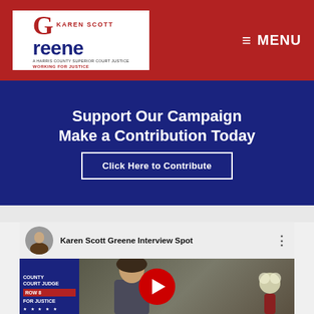[Figure (logo): Karen Scott Greene campaign logo on white background with red G, blue Greene text, and tagline Working For Justice]
≡ MENU
Support Our Campaign
Make a Contribution Today
Click Here to Contribute
[Figure (screenshot): YouTube video embed showing Karen Scott Greene Interview Spot with thumbnail of a woman in a suit, YouTube play button overlay, and a campaign sign visible on left reading County Court Judge Row 8 For Justice]